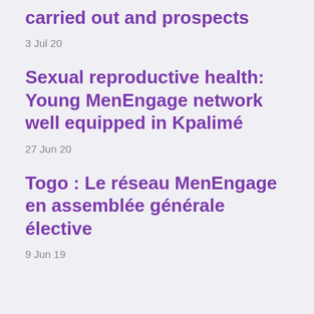carried out and prospects
3 Jul 20
Sexual reproductive health: Young MenEngage network well equipped in Kpalimé
27 Jun 20
Togo : Le réseau MenEngage en assemblée générale élective
9 Jun 19